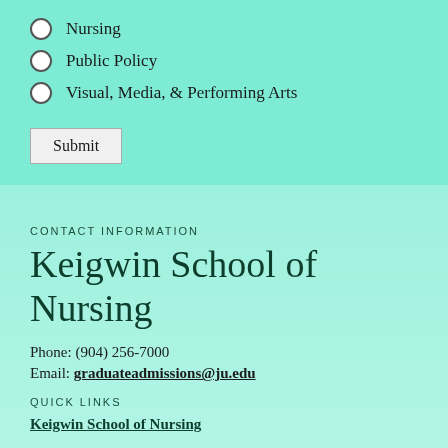Nursing
Public Policy
Visual, Media, & Performing Arts
Submit
CONTACT INFORMATION
Keigwin School of Nursing
Phone: (904) 256-7000
Email: graduateadmissions@ju.edu
QUICK LINKS
Keigwin School of Nursing